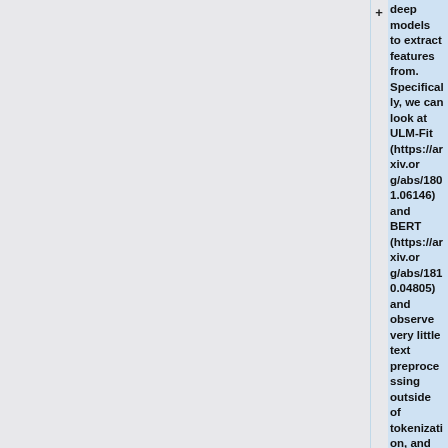deep models to extract features from. Specifically, we can look at ULM-Fit (https://arxiv.org/abs/1801.06146) and BERT (https://arxiv.org/abs/1810.04805) and observe very little text preprocessing outside of tokenization, and simply allowing the model to learn the necessary features from a huge corpus.